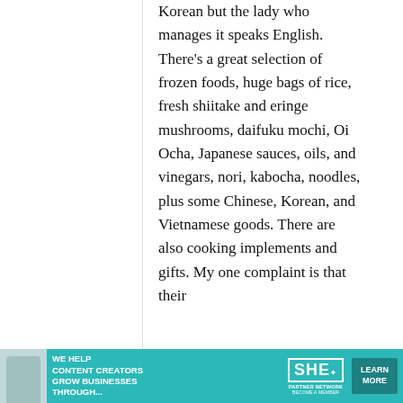Korean but the lady who manages it speaks English. There's a great selection of frozen foods, huge bags of rice, fresh shiitake and eringe mushrooms, daifuku mochi, Oi Ocha, Japanese sauces, oils, and vinegars, nori, kabocha, noodles, plus some Chinese, Korean, and Vietnamese goods. There are also cooking implements and gifts. My one complaint is that their
[Figure (other): Advertisement banner for SHE Media Partner Network: teal background, woman with laptop photo, text 'We help content creators grow businesses through...', SHE logo, 'Learn More' button]